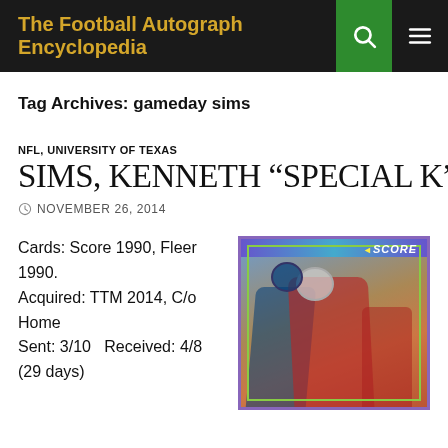The Football Autograph Encyclopedia
Tag Archives: gameday sims
NFL, UNIVERSITY OF TEXAS
SIMS, KENNETH "SPECIAL K"
NOVEMBER 26, 2014
Cards: Score 1990, Fleer 1990.
Acquired: TTM 2014, C/o Home
Sent: 3/10   Received: 4/8 (29 days)
[Figure (photo): Score 1990 football trading card showing Kenneth Sims in action on the field, with Score logo in top right corner and green border around the card image.]